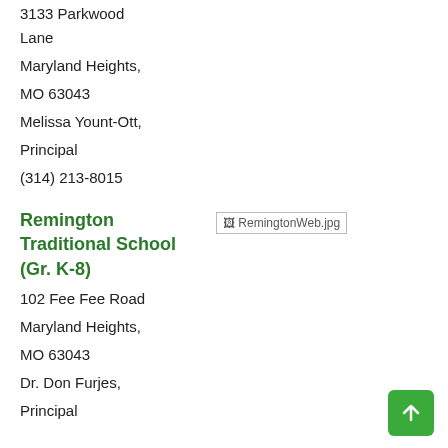3133 Parkwood Lane
Maryland Heights,
MO 63043
Melissa Yount-Ott,
Principal
(314) 213-8015
Remington Traditional School (Gr. K-8)
[Figure (photo): RemingtonWeb.jpg - broken image placeholder]
102 Fee Fee Road
Maryland Heights,
MO 63043
Dr. Don Furjes,
Principal